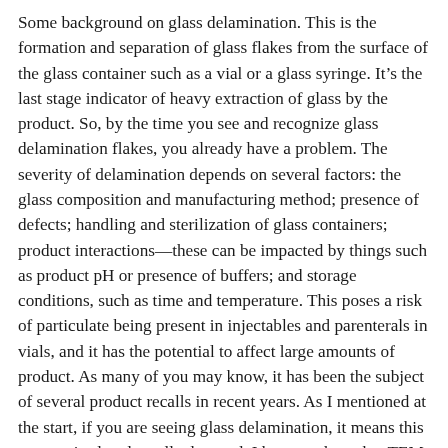Some background on glass delamination. This is the formation and separation of glass flakes from the surface of the glass container such as a vial or a glass syringe. It's the last stage indicator of heavy extraction of glass by the product. So, by the time you see and recognize glass delamination flakes, you already have a problem. The severity of delamination depends on several factors: the glass composition and manufacturing method; presence of defects; handling and sterilization of glass containers; product interactions—these can be impacted by things such as product pH or presence of buffers; and storage conditions, such as time and temperature. This poses a risk of particulate being present in injectables and parenterals in vials, and it has the potential to affect large amounts of product. As many of you may know, it has been the subject of several product recalls in recent years. As I mentioned at the start, if you are seeing glass delamination, it means this process is already well advanced. I hope to show that TEM can give you the ability to locate